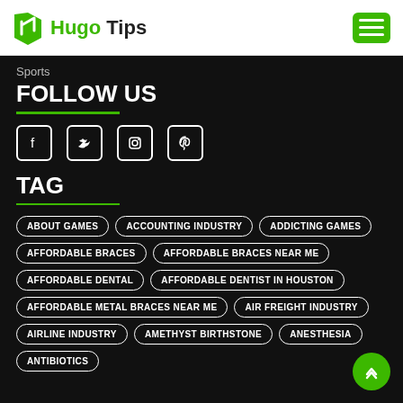Hugo Tips
Sports
FOLLOW US
[Figure (infographic): Social media icons: Facebook, Twitter, Instagram, Pinterest]
TAG
ABOUT GAMES
ACCOUNTING INDUSTRY
ADDICTING GAMES
AFFORDABLE BRACES
AFFORDABLE BRACES NEAR ME
AFFORDABLE DENTAL
AFFORDABLE DENTIST IN HOUSTON
AFFORDABLE METAL BRACES NEAR ME
AIR FREIGHT INDUSTRY
AIRLINE INDUSTRY
AMETHYST BIRTHSTONE
ANESTHESIA
ANTIBIOTICS